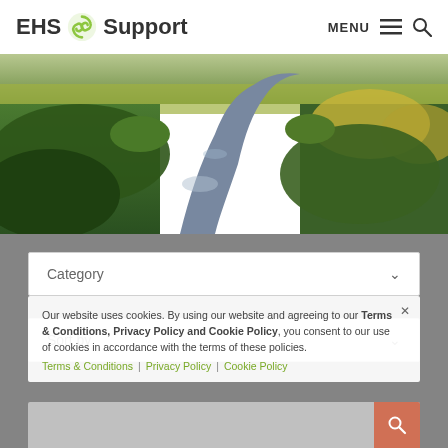EHS Support — MENU (hamburger icon) (search icon)
[Figure (photo): Aerial view of a forested river winding through dense green trees, with golden-yellow foliage visible in the distance.]
Category (dropdown)
Sort by (dropdown)
Our website uses cookies. By using our website and agreeing to our Terms & Conditions, Privacy Policy and Cookie Policy, you consent to our use of cookies in accordance with the terms of these policies.
Terms & Conditions | Privacy Policy | Cookie Policy